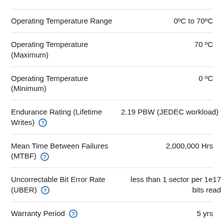| Property | Value |
| --- | --- |
| Operating Temperature Range | 0ºC to 70ºC |
| Operating Temperature (Maximum) | 70 ºC |
| Operating Temperature (Minimum) | 0 ºC |
| Endurance Rating (Lifetime Writes) | 2.19 PBW (JEDEC workload) |
| Mean Time Between Failures (MTBF) | 2,000,000 Hrs |
| Uncorrectable Bit Error Rate (UBER) | less than 1 sector per 1e17 bits read |
| Warranty Period | 5 yrs |
Supplemental Information